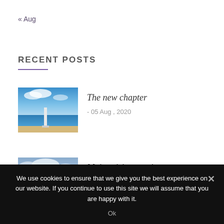« Aug
RECENT POSTS
The new chapter – 05 Aug , 2020
Moisturising mania – 22 Jul , 2020
We use cookies to ensure that we give you the best experience on our website. If you continue to use this site we will assume that you are happy with it. Ok